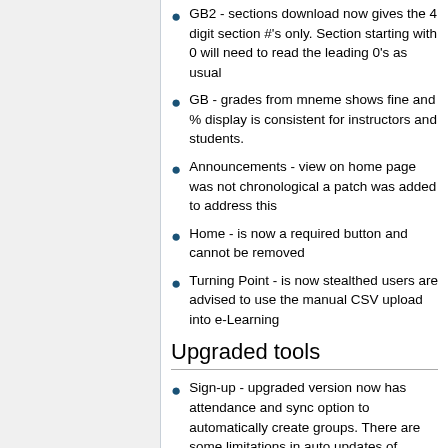GB2 - sections download now gives the 4 digit section #'s only. Section starting with 0 will need to read the leading 0's as usual
GB - grades from mneme shows fine and % display is consistent for instructors and students.
Announcements - view on home page was not chronological a patch was added to address this
Home - is now a required button and cannot be removed
Turning Point - is now stealthed users are advised to use the manual CSV upload into e-Learning
Upgraded tools
Sign-up - upgraded version now has attendance and sync option to automatically create groups. There are some limitations in auto updates of groups once set and will need manual edits.